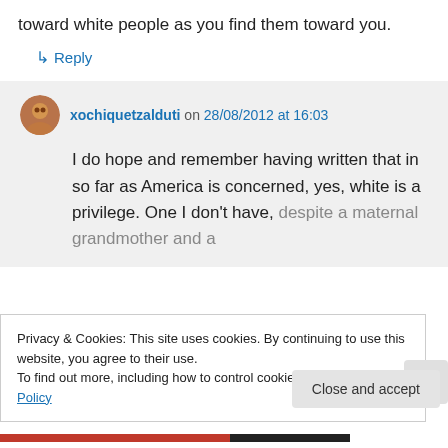toward white people as you find them toward you.
↳ Reply
xochiquetzalduti on 28/08/2012 at 16:03
I do hope and remember having written that in so far as America is concerned, yes, white is a privilege. One I don't have, despite a maternal grandmother and a
Privacy & Cookies: This site uses cookies. By continuing to use this website, you agree to their use.
To find out more, including how to control cookies, see here: Cookie Policy